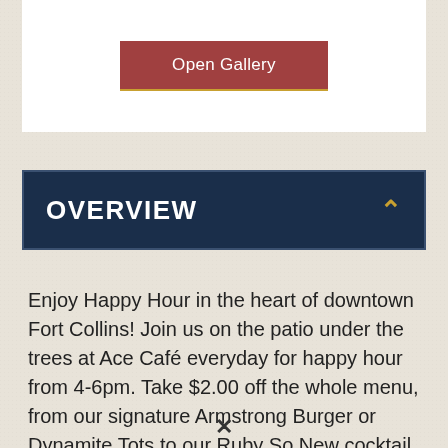[Figure (screenshot): Open Gallery button — a dark rose/crimson rectangular button with white text 'Open Gallery' and a gold underline, displayed on a white card background]
OVERVIEW
Enjoy Happy Hour in the heart of downtown Fort Collins! Join us on the patio under the trees at Ace Café everyday for happy hour from 4-6pm. Take $2.00 off the whole menu, from our signature Armstrong Burger or Dynamite Tots to our Ruby So New cocktail or an ice cold craft beer.